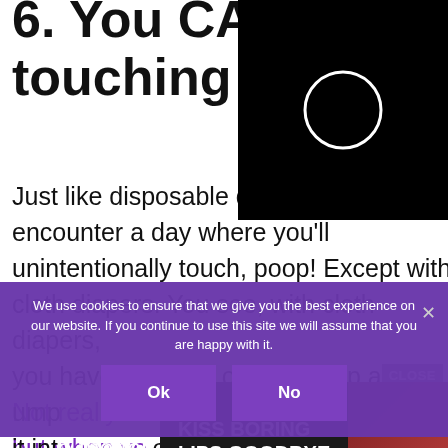6. You CAN'T minimize touching poop
[Figure (screenshot): Black video overlay panel with a white circle/play button outline in the center]
Just like disposable diapers, you'll encounter a day where you'll unintentionally touch, poop! Except with cloth diapers. You see, with cloth diapers, you have to scoop out the poop and dump it into... [CLOSE button] ...will get all up in that.
[Figure (screenshot): Macy's advertisement banner: KISS BORING LIPS GOODBYE with SHOP NOW button and Macy's star logo]
We use cookies to ensure that we give you the best experience on our website. If you continue to use this site we will assume that you are happy with it.
Not really a task I'm up for on the daily, but when you... savings and other convenience cloth diapering has, I